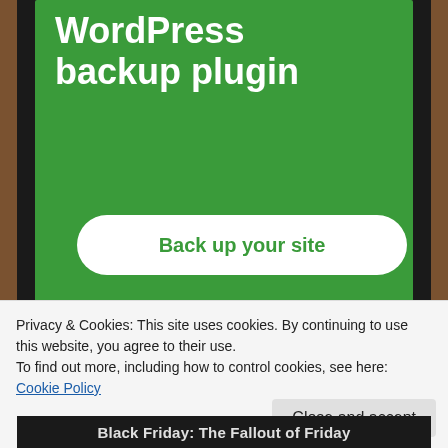[Figure (screenshot): Screenshot of a mobile browser showing a WordPress backup plugin advertisement on a green background with a 'Back up your site' button, overlaid by a cookie consent banner at the bottom.]
WordPress backup plugin
Back up your site
REPORT THIS AD
Privacy & Cookies: This site uses cookies. By continuing to use this website, you agree to their use.
To find out more, including how to control cookies, see here: Cookie Policy
Close and accept
Black Friday: The Fallout of Friday